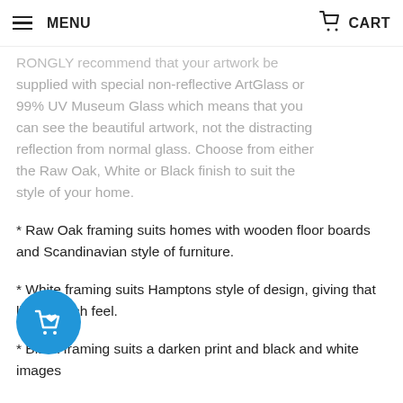MENU | CART
supplied with special non-reflective ArtGlass or 99% UV Museum Glass which means that you can see the beautiful artwork, not the distracting reflection from normal glass. Choose from either the Raw Oak, White or Black finish to suit the style of your home.
* Raw Oak framing suits homes with wooden floor boards and Scandinavian style of furniture.
* White framing suits Hamptons style of design, giving that light, beach feel.
* Black framing suits a darken print and black and white images
you're after more information on choosing the right artwork for your home, see our Artwork